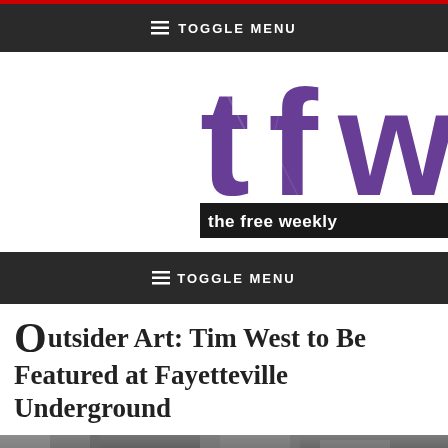≡ TOGGLE MENU
[Figure (logo): tfw - the free weekly logo in purple grunge typography]
≡ TOGGLE MENU
Outsider Art: Tim West to Be Featured at Fayetteville Underground
[Figure (photo): Black and white photo strip at bottom of page]